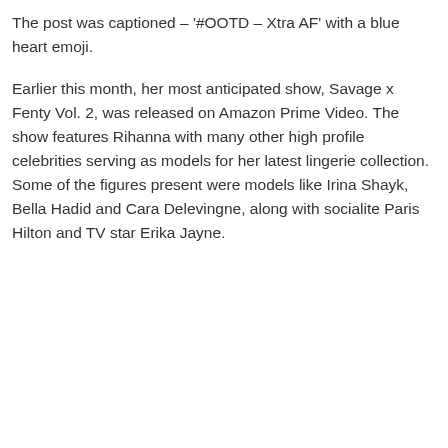The post was captioned – '#OOTD – Xtra AF' with a blue heart emoji.
Earlier this month, her most anticipated show, Savage x Fenty Vol. 2, was released on Amazon Prime Video. The show features Rihanna with many other high profile celebrities serving as models for her latest lingerie collection. Some of the figures present were models like Irina Shayk, Bella Hadid and Cara Delevingne, along with socialite Paris Hilton and TV star Erika Jayne.